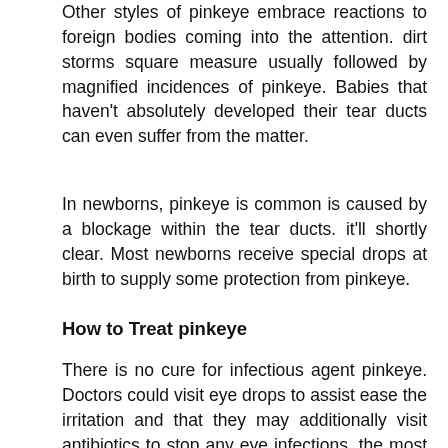Other styles of pinkeye embrace reactions to foreign bodies coming into the attention. dirt storms square measure usually followed by magnified incidences of pinkeye. Babies that haven't absolutely developed their tear ducts can even suffer from the matter.
In newborns, pinkeye is common is caused by a blockage within the tear ducts. it'll shortly clear. Most newborns receive special drops at birth to supply some protection from pinkeye.
How to Treat pinkeye
There is no cure for infectious agent pinkeye. Doctors could visit eye drops to assist ease the irritation and that they may additionally visit antibiotics to stop any eye infections. the most effective treatment for infectious agent pinkeye is to let nature take its course. This takes 7-10 days throughout that smart personal hygiene is very important, dynamical pillow slips frequently and better the same and therefore...